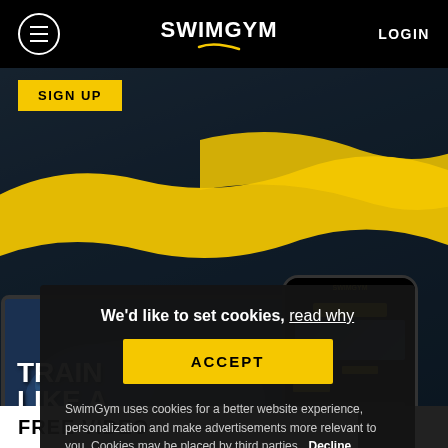SWIM GYM — LOGIN
SIGN UP
[Figure (screenshot): SwimGym website hero section showing a laptop with 'TRAIN LIKE A PRO' text and swimmers in pool, alongside a phone mockup of the SwimGym app, with yellow brush stroke design elements on a dark swimming pool background]
We'd like to set cookies, read why
ACCEPT
SwimGym uses cookies for a better website experience, personalization and make advertisements more relevant to you. Cookies may be placed by third parties. Decline
FREE VIDEO